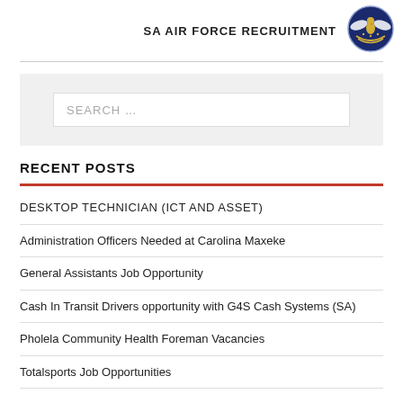SA AIR FORCE RECRUITMENT
[Figure (logo): South African Air Force emblem/crest in circular badge, blue background with eagle and gold wreath]
SEARCH …
RECENT POSTS
DESKTOP TECHNICIAN (ICT AND ASSET)
Administration Officers Needed at Carolina Maxeke
General Assistants Job Opportunity
Cash In Transit Drivers opportunity with G4S Cash Systems (SA)
Pholela Community Health Foreman Vacancies
Totalsports Job Opportunities